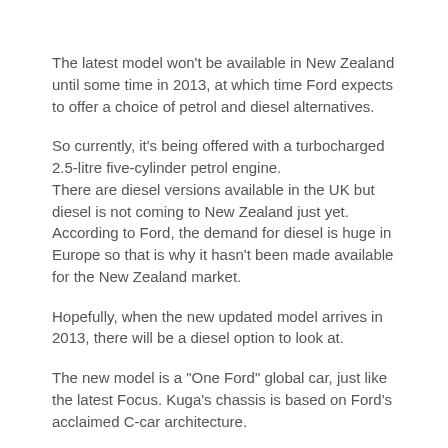The latest model won't be available in New Zealand until some time in 2013, at which time Ford expects to offer a choice of petrol and diesel alternatives.
So currently, it's being offered with a turbocharged 2.5-litre five-cylinder petrol engine.
There are diesel versions available in the UK but diesel is not coming to New Zealand just yet. According to Ford, the demand for diesel is huge in Europe so that is why it hasn't been made available for the New Zealand market.
Hopefully, when the new updated model arrives in 2013, there will be a diesel option to look at.
The new model is a "One Ford" global car, just like the latest Focus. Kuga's chassis is based on Ford's acclaimed C-car architecture.
(See the article in the News Updates section of our website titled "One Ford").